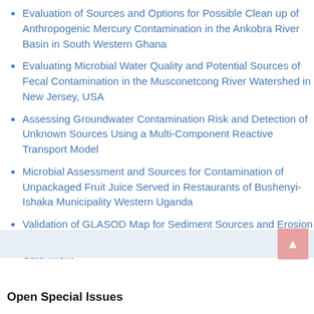Evaluation of Sources and Options for Possible Clean up of Anthropogenic Mercury Contamination in the Ankobra River Basin in South Western Ghana
Evaluating Microbial Water Quality and Potential Sources of Fecal Contamination in the Musconetcong River Watershed in New Jersey, USA
Assessing Groundwater Contamination Risk and Detection of Unknown Sources Using a Multi-Component Reactive Transport Model
Microbial Assessment and Sources for Contamination of Unpackaged Fruit Juice Served in Restaurants of Bushenyi-Ishaka Municipality Western Uganda
Validation of GLASOD Map for Sediment Sources and Erosion Processes Identification in the Nyumba Ya Mungu Reservoir Catchment
Open Special Issues